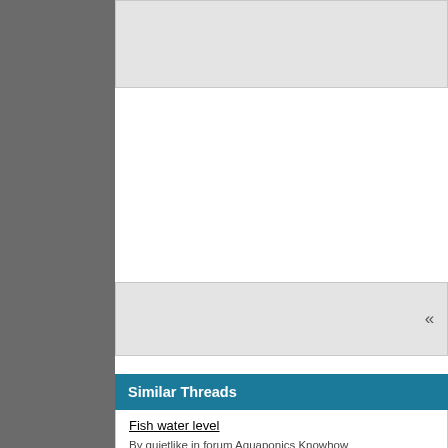Similar Threads
Fish water level
By quietlike in forum Aquaponics Knowhow
newbie question on FT to GB ratios
By oaktown doug in forum Aquaponics Knowhow
Raft water and Sump water
By kneedeepinwater in forum Want To Know HOW TO..?
Installing! Clean water or cycled water?
By chrisfoerst in forum Aquaponics Knowhow
Cold water fish
By jackalope in forum Fishy Questions....
Posting Permissions
You may not post new threads    BB code is On